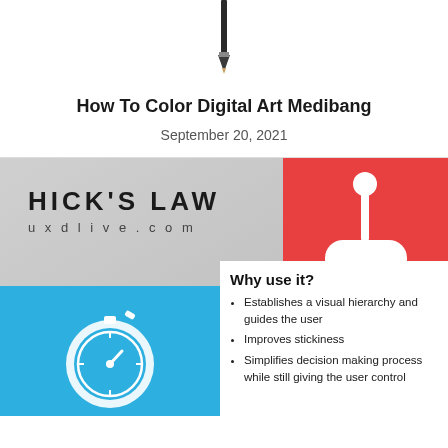[Figure (photo): Top portion of a stylus or pencil pointing downward against white background]
How To Color Digital Art Medibang
September 20, 2021
[Figure (infographic): Hick's Law infographic from uxdlive.com. Top-left gray area with 'HICK'S LAW' heading and 'uxdlive.com' subtitle. Top-right red box with white joystick/game controller icon. Bottom-left blue box with white stopwatch icon. Bottom-right white box titled 'Why use it?' with bullet points: Establishes a visual hierarchy and guides the user; Improves stickiness; Simplifies decision making process while still giving the user control.]